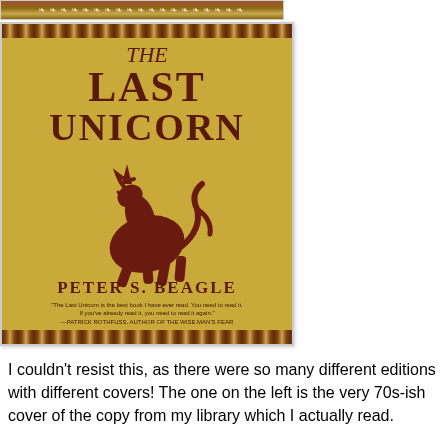[Figure (illustration): Book cover of 'The Last Unicorn' by Peter S. Beagle. Golden/yellow aged parchment background with a dark reddish-brown unicorn rearing up in the center. Title text 'THE LAST UNICORN' in large serif letters at top in dark red/brown. Author name 'PETER S. BEAGLE' at bottom. A quote from Patrick Rothfuss at the very bottom. Decorative border patterns at top and bottom of cover.]
I couldn't resist this, as there were so many different editions with different covers!  The one on the left is the very 70s-ish cover of the copy from my library which I actually read.